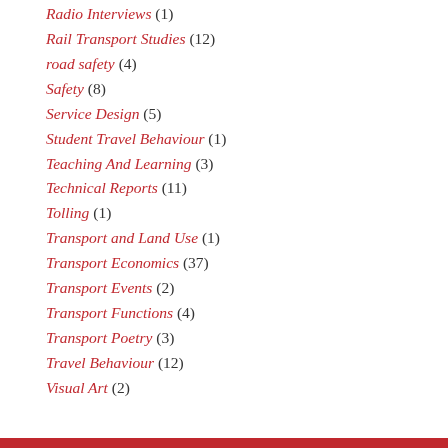Radio Interviews (1)
Rail Transport Studies (12)
road safety (4)
Safety (8)
Service Design (5)
Student Travel Behaviour (1)
Teaching And Learning (3)
Technical Reports (11)
Tolling (1)
Transport and Land Use (1)
Transport Economics (37)
Transport Events (2)
Transport Functions (4)
Transport Poetry (3)
Travel Behaviour (12)
Visual Art (2)